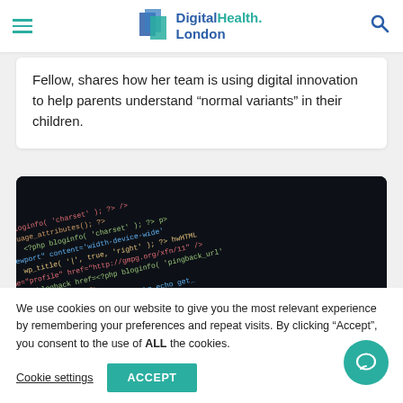DigitalHealth.London
Fellow, shares how her team is using digital innovation to help parents understand “normal variants” in their children.
[Figure (photo): Close-up photo of a computer screen displaying colourful PHP/HTML source code on a dark background.]
We use cookies on our website to give you the most relevant experience by remembering your preferences and repeat visits. By clicking “Accept”, you consent to the use of ALL the cookies.
Cookie settings | ACCEPT